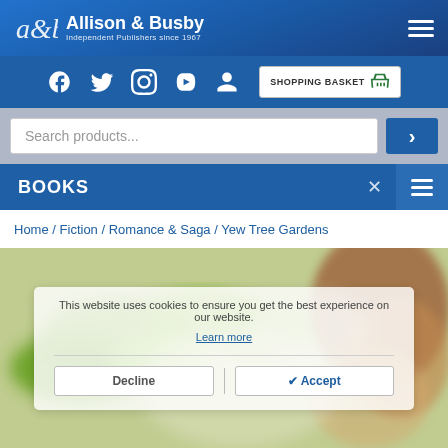Allison & Busby — Independent Publishers since 1967
[Figure (screenshot): Website header with Allison & Busby logo, social media icons (Facebook, Twitter, Instagram, YouTube, user), shopping basket button, search bar, and Books navigation bar]
Home / Fiction / Romance & Saga / Yew Tree Gardens
This website uses cookies to ensure you get the best experience on our website. Learn more | Decline | Accept
[Figure (photo): Blurred book cover image showing green leaves and a person's face (brown hair), representing Yew Tree Gardens]